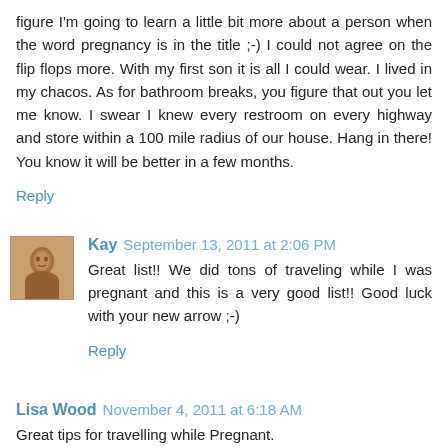figure I'm going to learn a little bit more about a person when the word pregnancy is in the title ;-) I could not agree on the flip flops more. With my first son it is all I could wear. I lived in my chacos. As for bathroom breaks, you figure that out you let me know. I swear I knew every restroom on every highway and store within a 100 mile radius of our house. Hang in there! You know it will be better in a few months.
Reply
Kay September 13, 2011 at 2:06 PM
Great list!! We did tons of traveling while I was pregnant and this is a very good list!! Good luck with your new arrow ;-)
Reply
Lisa Wood November 4, 2011 at 6:18 AM
Great tips for travelling while Pregnant.